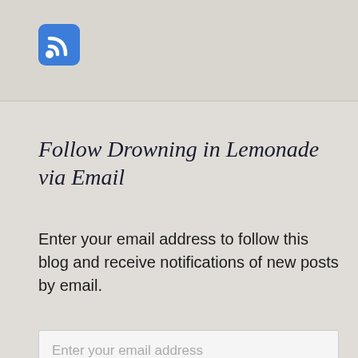[Figure (logo): Blue RSS feed icon with white signal waves on a rounded blue square background]
Follow Drowning in Lemonade via Email
Enter your email address to follow this blog and receive notifications of new posts by email.
Enter your email address